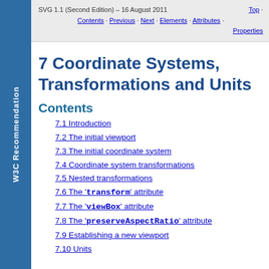SVG 1.1 (Second Edition) – 16 August 2011   Top · Contents · Previous · Next · Elements · Attributes · Properties
7 Coordinate Systems, Transformations and Units
Contents
7.1 Introduction
7.2 The initial viewport
7.3 The initial coordinate system
7.4 Coordinate system transformations
7.5 Nested transformations
7.6 The 'transform' attribute
7.7 The 'viewBox' attribute
7.8 The 'preserveAspectRatio' attribute
7.9 Establishing a new viewport
7.10 Units